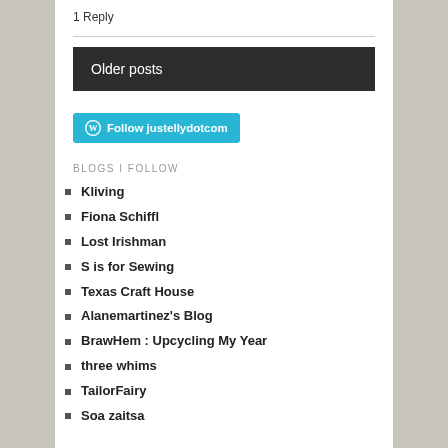1 Reply
[Figure (other): Follow justellydotcom button with WordPress icon]
BLOGS I FOLLOW
Kliving
Fiona Schiffl
Lost Irishman
S is for Sewing
Texas Craft House
Alanemartinez's Blog
BrawHem : Upcycling My Year
three whims
TailorFairy
Soa zaitsa